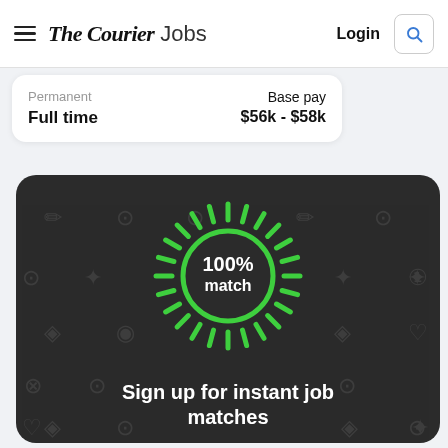The Courier Jobs — Login
Permanent
Full time
Base pay
$56k - $58k
[Figure (infographic): Dark rounded card with decorative background icons, a green radial burst circle showing '100% match' in the center, and text 'Sign up for instant job matches' at the bottom in white bold font.]